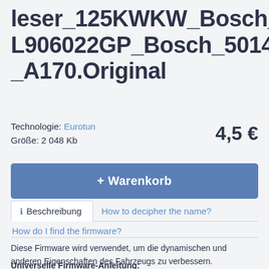leser_125KWKW_Bosch_03L906022GP_Bosch_501430_A170.Original
Technologie: Eurotun
Größe: 2 048 Kb
4,5 €
+ Warenkorb
ℹ Beschreibung
How to decipher the name?
How do I find the firmware?
Diese Firmware wird verwendet, um die dynamischen und anderen Eigenschaften des Fahrzeugs zu verbessern.
Universelle Firmware-Anleitung: